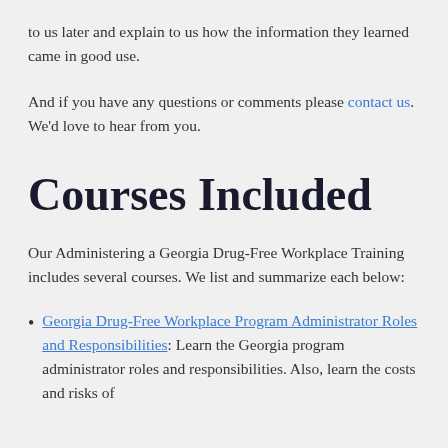to us later and explain to us how the information they learned came in good use.
And if you have any questions or comments please contact us. We'd love to hear from you.
Courses Included
Our Administering a Georgia Drug-Free Workplace Training includes several courses. We list and summarize each below:
Georgia Drug-Free Workplace Program Administrator Roles and Responsibilities: Learn the Georgia program administrator roles and responsibilities. Also, learn the costs and risks of